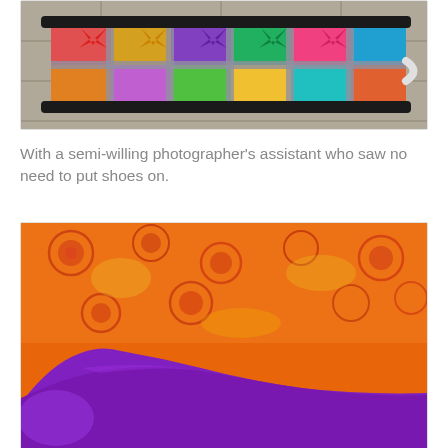[Figure (photo): A colorful patchwork quilt with star pattern blocks in red, purple, yellow, cyan, and other bright colors, laid out on a dark frame on stone pavement.]
With a semi-willing photographer's assistant who saw no need to put shoes on.
[Figure (photo): Close-up of a purple-socked foot resting on a vibrant orange-red floral rose print fabric (quilt backing).]